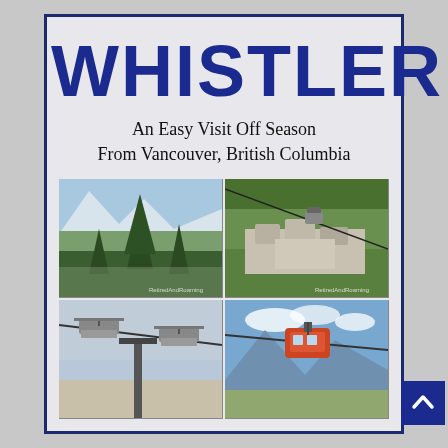WHISTLER
An Easy Visit Off Season
From Vancouver, British Columbia
[Figure (photo): Four photos in a 2x2 grid showing Whistler mountain scenery: top-left is a mountain valley view with tall evergreen trees and snow-capped peaks; top-right is an aerial view of Whistler village surrounded by forest; bottom-left is a chairlift close-up with gondola chairs; bottom-right is a gondola cable car with mountains and blue sky in background.]